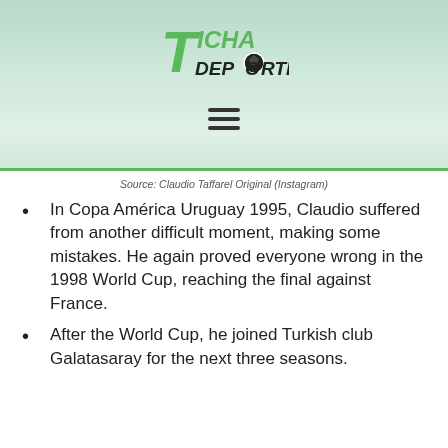[Figure (logo): Ficha Deportiva logo with soccer ball, green and black text on a light green background with hamburger menu icon below]
Source: Claudio Taffarel Original (Instagram)
In Copa América Uruguay 1995, Claudio suffered from another difficult moment, making some mistakes. He again proved everyone wrong in the 1998 World Cup, reaching the final against France.
After the World Cup, he joined Turkish club Galatasaray for the next three seasons.